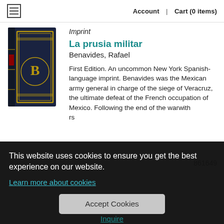Account | Cart (0 items)
Imprint
[Figure (photo): A dark navy blue hardcover book with gold embossed decoration and lettering on the spine and cover, standing upright.]
La prusia militar
Benavides, Rafael
First Edition. An uncommon New York Spanish-language imprint. Benavides was the Mexican army general in charge of the siege of Veracruz, the ultimate defeat of the French occupation of Mexico. Following the end of the war with [...]rs
861649
This website uses cookies to ensure you get the best experience on our website.
Learn more about cookies
Accept Cookies
Inquire